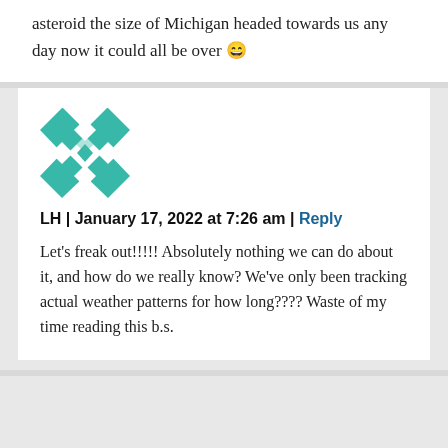asteroid the size of Michigan headed towards us any day now it could all be over 😄
[Figure (illustration): Teal and white geometric quilt pattern avatar for user LH]
LH | January 17, 2022 at 7:26 am | Reply
Let's freak out!!!!! Absolutely nothing we can do about it, and how do we really know? We've only been tracking actual weather patterns for how long???? Waste of my time reading this b.s.